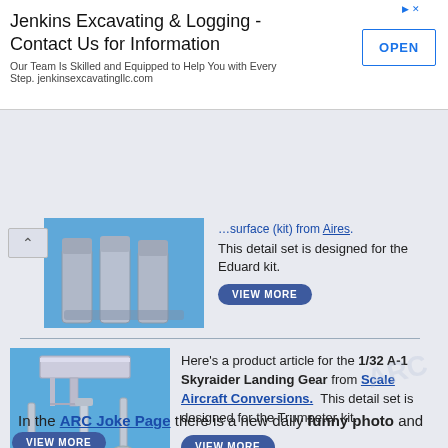[Figure (screenshot): Advertisement banner for Jenkins Excavating & Logging with OPEN button]
Jenkins Excavating & Logging - Contact Us for Information
Our Team Is Skilled and Equipped to Help You with Every Step. jenkinsexcavatingllc.com
[Figure (photo): Partial view of aircraft parts detail set on blue background]
This detail set is designed for the Eduard kit.
[Figure (photo): 1/32 A-1 Skyraider Landing Gear parts laid out on blue background showing landing gear struts, wheels and components]
Here's a product article for the 1/32 A-1 Skyraider Landing Gear from Scale Aircraft Conversions. This detail set is designed for the Trumpeter kit.
In the ARC Joke Page there is a new daily funny photo and daily joke.